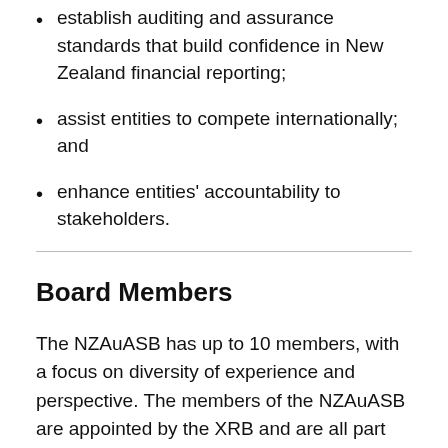establish auditing and assurance standards that build confidence in New Zealand financial reporting;
assist entities to compete internationally; and
enhance entities' accountability to stakeholders.
Board Members
The NZAuASB has up to 10 members, with a focus on diversity of experience and perspective. The members of the NZAuASB are appointed by the XRB and are all part time. They are remunerated in accordance with rates determined by the Remuneration Authority.